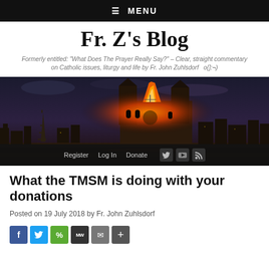☰  MENU
Fr. Z's Blog
Formerly entitled: "What Does The Prayer Really Say?" – Clear, straight commentary on Catholic issues, liturgy and life by Fr. John Zuhlsdorf   o{]:¬)
[Figure (photo): Notre Dame Cathedral on fire at night with the Eiffel Tower visible in the background, Paris skyline]
Register   Log In   Donate
What the TMSM is doing with your donations
Posted on 19 July 2018 by Fr. John Zuhlsdorf
[Figure (other): Social share buttons: Facebook, Twitter, Share, MeWe, Email, Plus]